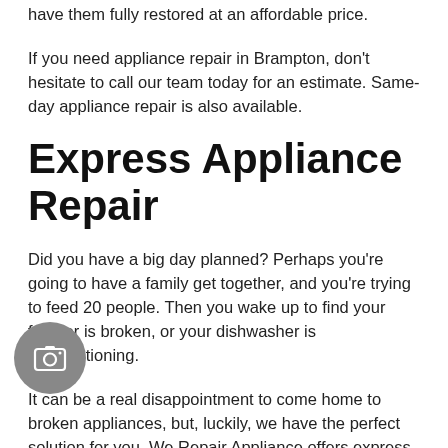have them fully restored at an affordable price.
If you need appliance repair in Brampton, don't hesitate to call our team today for an estimate. Same-day appliance repair is also available.
Express Appliance Repair
Did you have a big day planned? Perhaps you're going to have a family get together, and you're trying to feed 20 people. Then you wake up to find your freezer is broken, or your dishwasher is malfunctioning.
It can be a real disappointment to come home to broken appliances, but, luckily, we have the perfect solution for you. We Repair Appliance offers express appliance repair in Brampton, ON. All
[Figure (other): Camera icon button overlay in bottom-left corner]